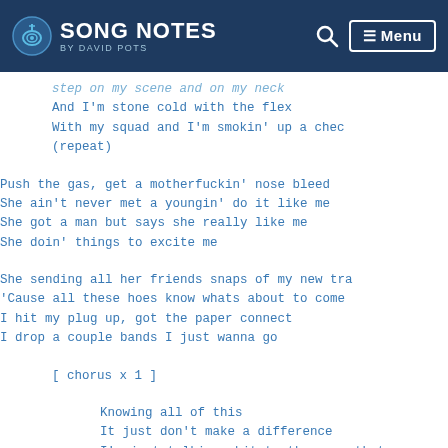SONG NOTES by David Pots
step on my scene and on my neck
And I'm stone cold with the flex
With my squad and I'm smokin' up a chec
(repeat)
Push the gas, get a motherfuckin' nose bleed
She ain't never met a youngin' do it like me
She got a man but says she really like me
She doin' things to excite me
She sending all her friends snaps of my new tra
'Cause all these hoes know whats about to come
I hit my plug up, got the paper connect
I drop a couple bands I just wanna go
[ chorus x 1 ]
Knowing all of this
It just don't make a difference
I'm just talking shit to the ones that
I come with the heat man, I swear I'm